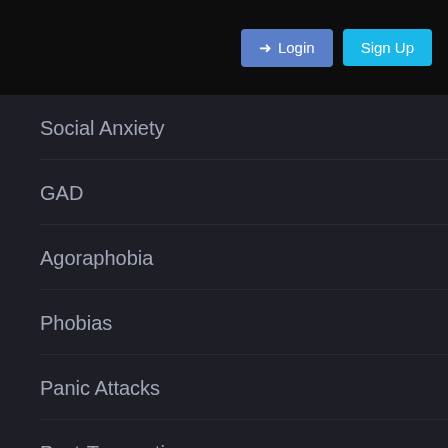Login  Sign Up
Social Anxiety
GAD
Agoraphobia
Phobias
Panic Attacks
Post-Traumatic Stress Disorder
Depression
Bipolar Disorder